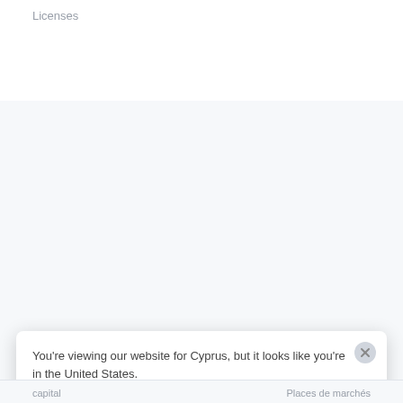Licenses
[Figure (logo): Stripe logo in dark navy bold text]
Chypre
Français (France)
© 2022 Stripe, Inc.
You're viewing our website for Cyprus, but it looks like you're in the United States.
Switch to the United States site ›
capital   Places de marchés